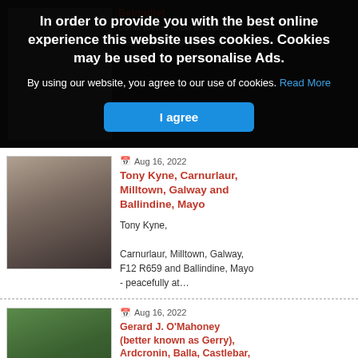[Figure (screenshot): Cookie consent overlay on an obituary website. Dark semi-transparent overlay with bold white text about cookie policy, a blue 'I agree' button, and behind it two obituary listings with photos.]
In order to provide you with the best online experience this website uses cookies. Cookies may be used to personalise Ads.
By using our website, you agree to our use of cookies. Read More
I agree
Belmullet
Denis (better know as Denis)
Meanscan, Glesha and Isle of
Aug 16, 2022
Tony Kyne, Carnurlaur, Milltown, Galway and Ballindine, Mayo
Tony Kyne,

Carnurlaur, Milltown, Galway, F12 R659 and Ballindine, Mayo - peacefully at…
Aug 16, 2022
Gerard J. O'Mahoney (better known as Gerry), Ardcronin, Balla, Castlebar, Co. Mayo and formerly of Athea, Co. Limerick and